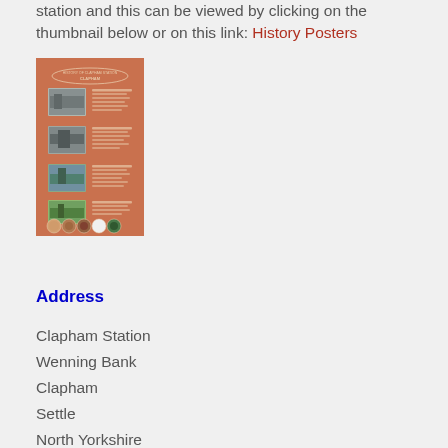station and this can be viewed by clicking on the thumbnail below or on this link: History Posters
[Figure (illustration): Thumbnail image of a history poster about Clapham Station, featuring a terracotta/brown background with historical photos of the station and circular logos at the bottom.]
Address
Clapham Station
Wenning Bank
Clapham
Settle
North Yorkshire